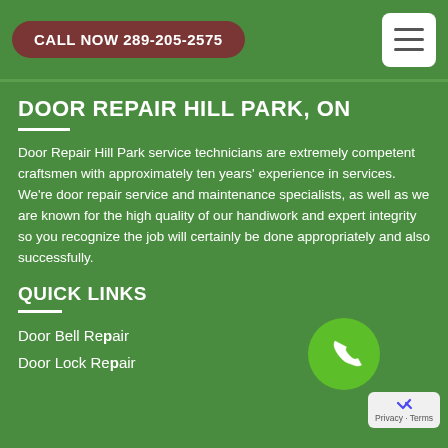CALL NOW 289-205-2575
DOOR REPAIR HILL PARK, ON
Door Repair Hill Park service technicians are extremely competent craftsmen with approximately ten years' experience in services. We're door repair service and maintenance specialists, as well as we are known for the high quality of our handiwork and expert integrity so you recognize the job will certainly be done appropriately and also successfully.
QUICK LINKS
Door Bell Repair
Door Lock Repair